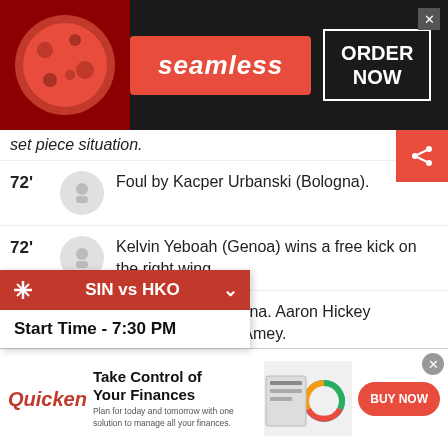[Figure (screenshot): Seamless food delivery advertisement banner with pizza image, red Seamless logo button, and ORDER NOW box on dark background]
set piece situation.
72' Foul by Kacper Urbanski (Bologna).
72' Kelvin Yeboah (Genoa) wins a free kick on the right wing.
71' Substitution, Bologna. Aaron Hickey replaces Wisdom Amey.
70' Substitution, Genoa. Caleb Ekuban replaces Domenico Criscito.
logna. Conceded by Johan Vasquez.
[Figure (screenshot): SIN vs HKO match notification bar showing Start Time - 7:30 PM]
[Figure (screenshot): Quicken advertisement: Take Control of Your Finances - Buy Now button]